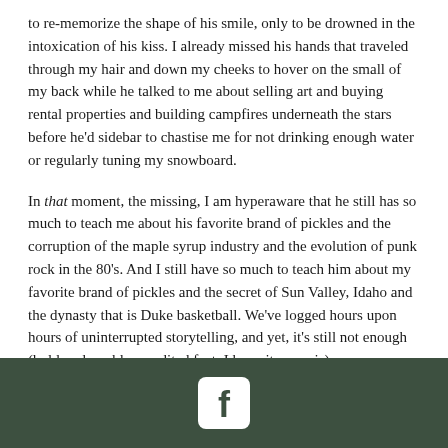to re-memorize the shape of his smile, only to be drowned in the intoxication of his kiss. I already missed his hands that traveled through my hair and down my cheeks to hover on the small of my back while he talked to me about selling art and buying rental properties and building campfires underneath the stars before he'd sidebar to chastise me for not drinking enough water or regularly tuning my snowboard.
In that moment, the missing, I am hyperaware that he still has so much to teach me about his favorite brand of pickles and the corruption of the maple syrup industry and the evolution of punk rock in the 80's. And I still have so much to teach him about my favorite brand of pickles and the secret of Sun Valley, Idaho and the dynasty that is Duke basketball. We've logged hours upon hours of uninterrupted storytelling, and yet, it's still not enough (bold, vulnerable, unedited fact: I hope it never is).
So, there is the acknowledgement that I'm now spoiled by his presence – so deep into twitterpation that a night alone, a state
[Figure (logo): Facebook logo icon — white rounded square with lowercase 'f' on dark olive/green background footer bar]